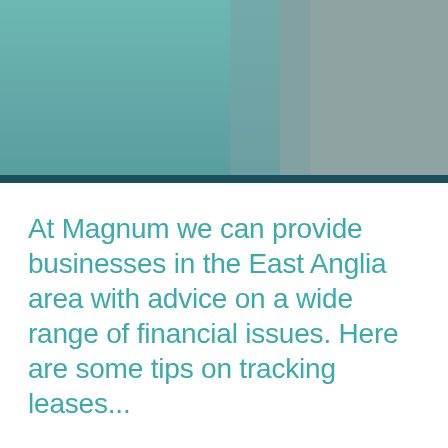[Figure (illustration): Decorative header graphic with teal/green gradient on the left transitioning to a muted grey-blue on the right, spanning the full width of the page at the top.]
At Magnum we can provide businesses in the East Anglia area with advice on a wide range of financial issues. Here are some tips on tracking leases...
Many businesses have inadequate systems for tracking their equipment leases, and often fail to note maturity and